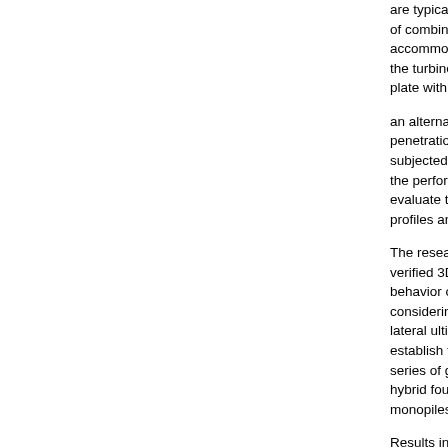are typically used to support OWT foundations because of combined wind, wave and seismic loading that needs to be accommodated within very small structural footprints to allow the turbines to operate effectively. This system consists of a plate with a diameter (W) fitted to...
an alternative to monopiles (M...) for sites with shallow bedrock penetration. This type of foundation is normally subjected to high overturning moments. The paper examines the performance of this system using numerical methods to evaluate the behavior of this system under various soil profiles and examine the effect...
The research methodology includes the use of a validated and verified 3D finite element model to investigate the lateral behavior of a 5MW wind turbine hybrid foundation system considering various pile/monopile sizes and examine their lateral ultimate capacity, compare their deformation response and establish their stiffness properties. It also includes results from a series of geotechnical centrifuge tests performed on a model hybrid foundation to investigate its behavior compared to monopiles.
Results indicated adding a plate significantly improves lateral capacity, whilst enabling a reduction in monopile embedment. Specifically, when the hybrid foundation was analyzed, ultimate capacity was reached for the h...